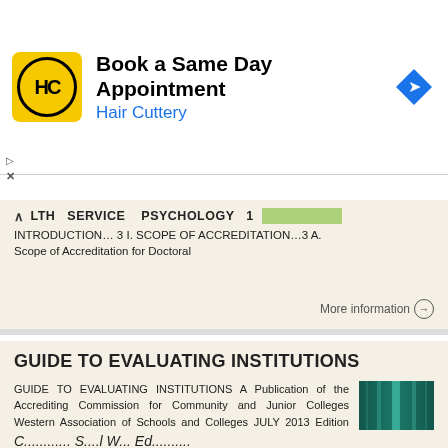[Figure (screenshot): Hair Cuttery advertisement banner with logo, text 'Book a Same Day Appointment', 'Hair Cuttery', and a navigation arrow icon]
LTH SERVICE PSYCHOLOGY 1 INTRODUCTION… 3 I. SCOPE OF ACCREDITATION…3 A. Scope of Accreditation for Doctoral
More information →
GUIDE TO EVALUATING INSTITUTIONS
GUIDE TO EVALUATING INSTITUTIONS A Publication of the Accrediting Commission for Community and Junior Colleges Western Association of Schools and Colleges JULY 2013 Edition ACCJC/WASC 10 Commercial Blvd.
More information →